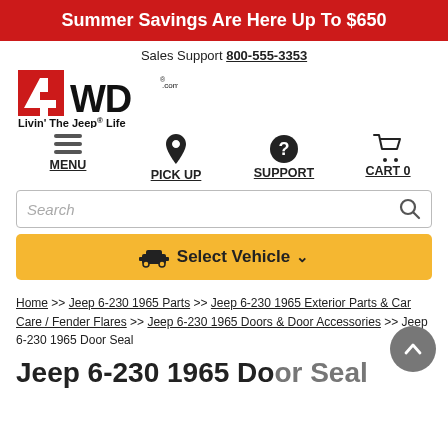Summer Savings Are Here Up To $650
Sales Support 800-555-3353
[Figure (logo): 4WD.com logo with red and white stylized '4' icon and bold 'WD' lettering; tagline: Livin' The Jeep® Life]
MENU  PICK UP  SUPPORT  CART 0
Search
Select Vehicle
Home >> Jeep 6-230 1965 Parts >> Jeep 6-230 1965 Exterior Parts & Car Care / Fender Flares >> Jeep 6-230 1965 Doors & Door Accessories >> Jeep 6-230 1965 Door Seal
Jeep 6-230 1965 Door Seal